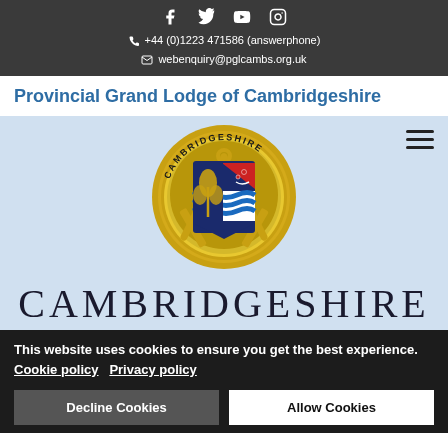f  y  ▶  🟤  +44 (0)1223 471586 (answerphone)  webenquiry@pglcambs.org.uk
Provincial Grand Lodge of Cambridgeshire
[Figure (logo): Circular Masonic logo with gold border showing a square and compass around a heraldic shield; shield shows red triangle with face, blue wavy stripes, and dark blue background with gold tree; text 'CAMBRIDGESHIRE' around the bottom of the circle]
CAMBRIDGESHIRE
This website uses cookies to ensure you get the best experience. Cookie policy  Privacy policy
Decline Cookies
Allow Cookies